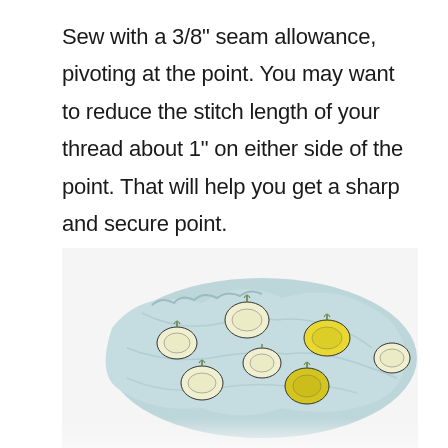Sew with a 3/8" seam allowance, pivoting at the point. You may want to reduce the stitch length of your thread about 1" on either side of the point. That will help you get a sharp and secure point.
[Figure (photo): A light blue fabric face mask with a lemon print pattern (yellow and white lemons with green leaves on pale blue background), photographed on a white surface.]